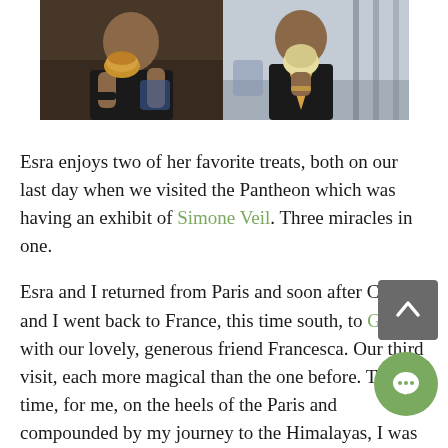[Figure (photo): Two side-by-side photos: left shows a person eating a pastry/burger treat; right shows a person holding an ice cream cone.]
Esra enjoys two of her favorite treats, both on our last day when we visited the Pantheon which was having an exhibit of Simone Veil. Three miracles in one.
Esra and I returned from Paris and soon after Claudio and I went back to France, this time south, to Gaujac with our lovely, generous friend Francesca. Our third visit, each more magical than the one before. This time, for me, on the heels of the Paris and compounded by my journey to the Himalayas, I was super sensitive to the magic of being there, bursting with